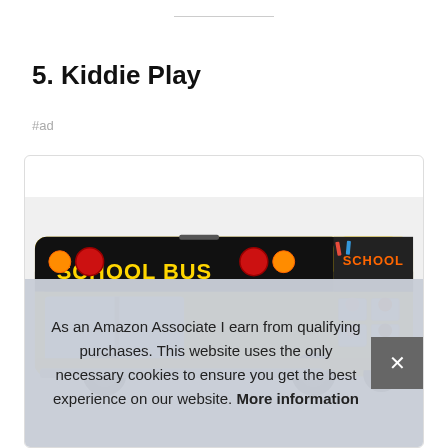5. Kiddie Play
#ad
[Figure (photo): Product card showing a yellow school bus pop-up play tent with cartoon children and 'SCHOOL BUS' text on the front]
As an Amazon Associate I earn from qualifying purchases. This website uses the only necessary cookies to ensure you get the best experience on our website. More information